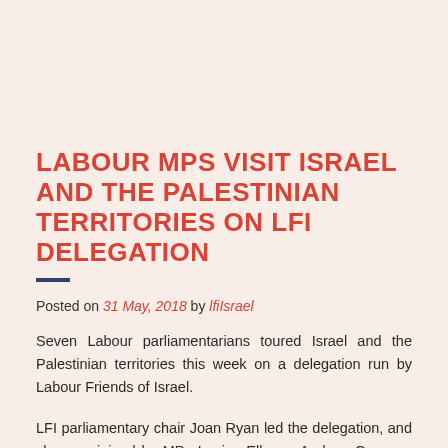LABOUR MPS VISIT ISRAEL AND THE PALESTINIAN TERRITORIES ON LFI DELEGATION
Posted on 31 May, 2018 by lfiIsrael
Seven Labour parliamentarians toured Israel and the Palestinian territories this week on a delegation run by Labour Friends of Israel.
LFI parliamentary chair Joan Ryan led the delegation, and she was joined by MPs Louise Ellman, Andrew Gwynne, Stephen Morgan, Sharon Hodgson, and Jonathan Reynolds, as well as Lord Roy Kennedy.